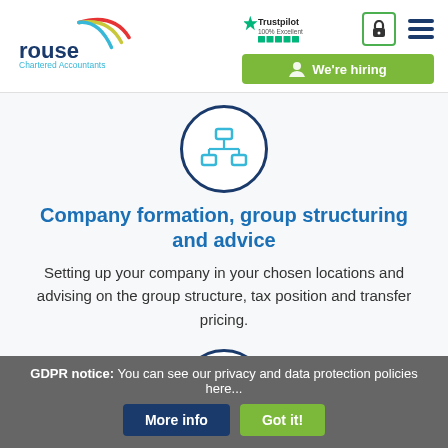[Figure (logo): Rouse Chartered Accountants logo with arc graphic in blue, red and green]
[Figure (infographic): Trustpilot 100% Excellent rating with stars, a lock icon button, and hamburger menu icon]
[Figure (infographic): Green 'We're hiring' button with person icon]
[Figure (illustration): Org chart / company structure icon in teal inside a dark blue circle border]
Company formation, group structuring and advice
Setting up your company in your chosen locations and advising on the group structure, tax position and transfer pricing.
[Figure (illustration): Folder/file icon in teal inside a dark blue circle border]
GDPR notice: You can see our privacy and data protection policies here...